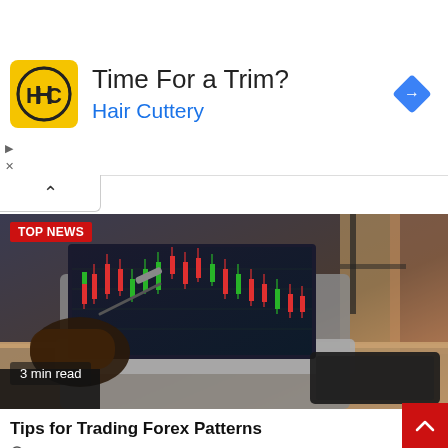[Figure (other): Hair Cuttery advertisement banner showing HC logo in yellow box, headline 'Time For a Trim?' and subtext 'Hair Cuttery' in blue, with navigation arrow icon on right]
[Figure (photo): Stock trading photo: a person's hand holding a pen pointing at a laptop screen showing red and green candlestick forex chart patterns. A tablet is visible on the desk. TOP NEWS badge and '3 min read' label overlay the image.]
Tips for Trading Forex Patterns
2 weeks ago   Logan Leo